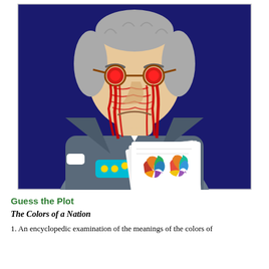[Figure (illustration): A cartoon illustration of an angry old man with gray hair and red round glasses, bleeding red from his face, wearing a dark suit and teal waistband with yellow beads, holding an open white book/document with colorful spots on it. The background of the illustration is dark navy blue.]
Guess the Plot
The Colors of a Nation
1. An encyclopedic examination of the meanings of the colors of